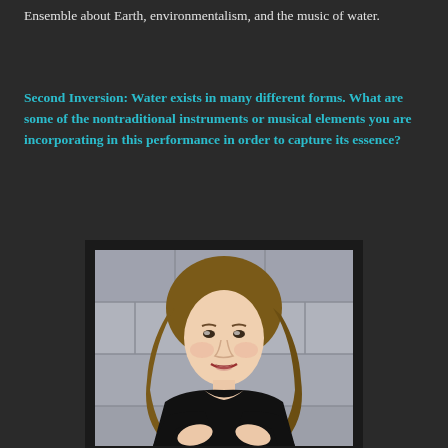Ensemble about Earth, environmentalism, and the music of water.
Second Inversion: Water exists in many different forms. What are some of the nontraditional instruments or musical elements you are incorporating in this performance in order to capture its essence?
[Figure (photo): Portrait photograph of a woman with long brown hair wearing a black dress, seated and leaning forward, posed against a stone/concrete background.]